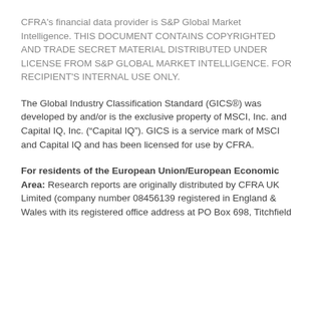CFRA's financial data provider is S&P Global Market Intelligence. THIS DOCUMENT CONTAINS COPYRIGHTED AND TRADE SECRET MATERIAL DISTRIBUTED UNDER LICENSE FROM S&P GLOBAL MARKET INTELLIGENCE. FOR RECIPIENT'S INTERNAL USE ONLY.
The Global Industry Classification Standard (GICS®) was developed by and/or is the exclusive property of MSCI, Inc. and Capital IQ, Inc. (“Capital IQ”). GICS is a service mark of MSCI and Capital IQ and has been licensed for use by CFRA.
For residents of the European Union/European Economic Area: Research reports are originally distributed by CFRA UK Limited (company number 08456139 registered in England & Wales with its registered office address at PO Box 698, Titchfield